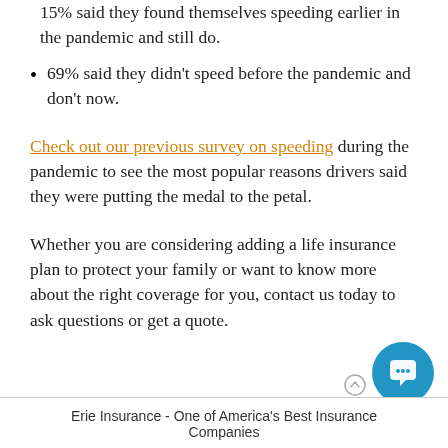15% said they found themselves speeding earlier in the pandemic and still do.
69% said they didn't speed before the pandemic and don't now.
Check out our previous survey on speeding during the pandemic to see the most popular reasons drivers said they were putting the medal to the petal.
Whether you are considering adding a life insurance plan to protect your family or want to know more about the right coverage for you, contact us today to ask questions or get a quote.
Erie Insurance - One of America's Best Insurance Companies